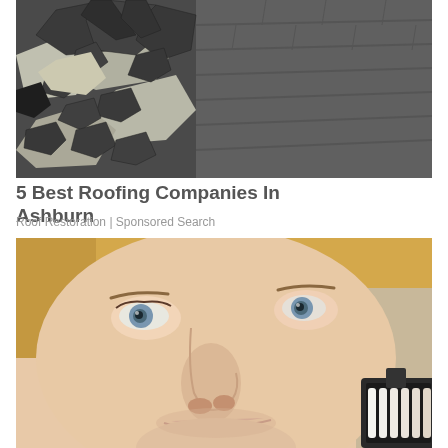[Figure (photo): Close-up photo of damaged and curling asphalt roof shingles, dark grey color, showing storm or wear damage]
5 Best Roofing Companies In Ashburn
Roof Restoration | Sponsored Search
[Figure (photo): Close-up of a young man smiling at the dentist, holding teeth shade guide samples near his mouth, looking upward]